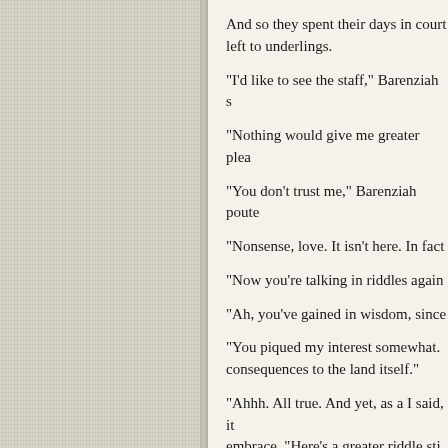[Figure (illustration): Left half of an open book showing a textured linen or canvas page with a cream/gray woven texture, representing the verso page of a book spread.]
And so they spent their days in court left to underlings.
"I'd like to see the staff," Barenziah s
"Nothing would give me greater plea
"You don't trust me," Barenziah poute
"Nonsense, love. It isn't here. In fact
"Now you're talking in riddles again
"Ah, you've gained in wisdom, since
"You piqued my interest somewhat. consequences to the land itself."
"Ahhh. All true. And yet, as a I said, it embrace. "Here's a greater riddle sti merged, limbs tangled together. Lat one, three of two...what cannot be de
Nightingale kept a diary. He scribble lock was a simple one, so Barenziah